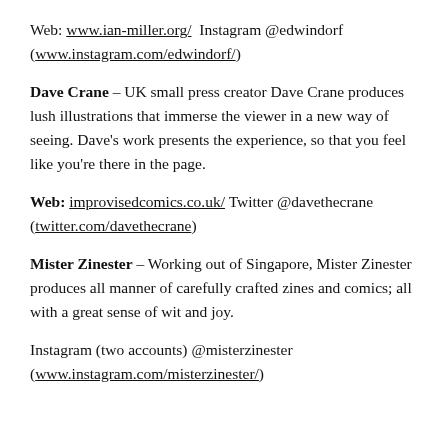Web: www.ian-miller.org/  Instagram @edwindorf (www.instagram.com/edwindorf/)
Dave Crane – UK small press creator Dave Crane produces lush illustrations that immerse the viewer in a new way of seeing. Dave's work presents the experience, so that you feel like you're there in the page.
Web: improvisedcomics.co.uk/ Twitter @davethecrane (twitter.com/davethecrane)
Mister Zinester – Working out of Singapore, Mister Zinester produces all manner of carefully crafted zines and comics; all with a great sense of wit and joy.
Instagram (two accounts) @misterzinester (www.instagram.com/misterzinester/)